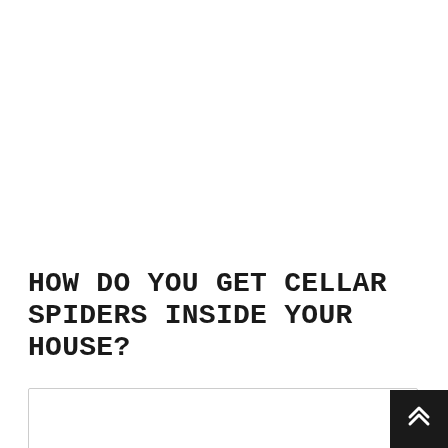HOW DO YOU GET CELLAR SPIDERS INSIDE YOUR HOUSE?